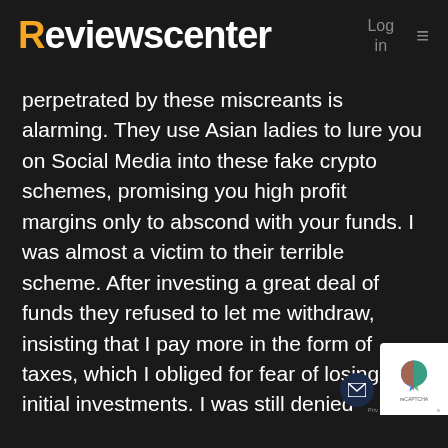Reviewscenter  Log in  ≡
perpetrated by these miscreants is alarming. They use Asian ladies to lure you on Social Media into these fake crypto schemes, promising you high profit margins only to abscond with your funds. I was almost a victim to their terrible scheme. After investing a great deal of funds they refused to let me withdraw, insisting that I pay more in the form of taxes, which I obliged for fear of losing my initial investments. I was still denied withdrawals. I got pissed and had to report to the Agency which directed me to Swittchchargeback0147@gmail.com They took up my case after I sent all my proof of transactions and fortunately got my funds